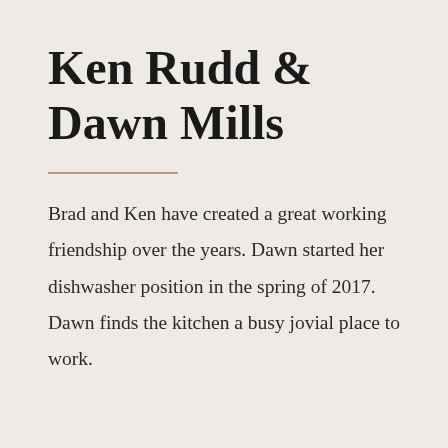Ken Rudd & Dawn Mills
Brad and Ken have created a great working friendship over the years. Dawn started her dishwasher position in the spring of 2017. Dawn finds the kitchen a busy jovial place to work.